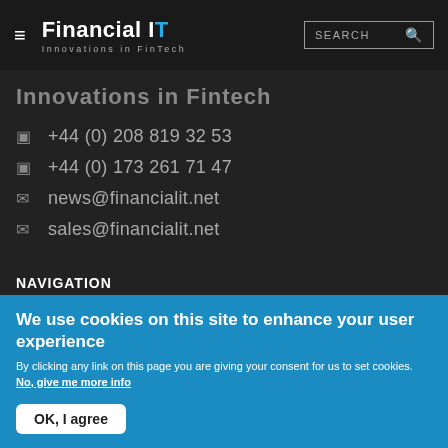Financial IT — Innovations in FinTech | SEARCH
INNOVATIONS IN FINTECH
+44 (0) 208 819 32 53
+44 (0) 173 261 71 47
news@financialit.net
sales@financialit.net
NAVIGATION
We use cookies on this site to enhance your user experience
By clicking any link on this page you are giving your consent for us to set cookies. No, give me more info
OK, I agree